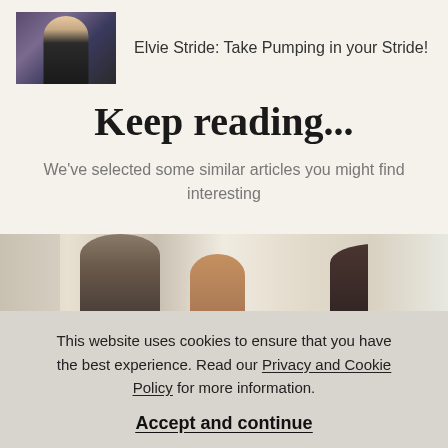[Figure (photo): Banner image showing a woman in a bra top against a purple background, promoting Elvie Stride]
Elvie Stride: Take Pumping in your Stride!
Keep reading...
We've selected some similar articles you might find interesting
[Figure (photo): Article thumbnail showing multiple women in a bright interior setting]
This website uses cookies to ensure that you have the best experience. Read our Privacy and Cookie Policy for more information.
Accept and continue